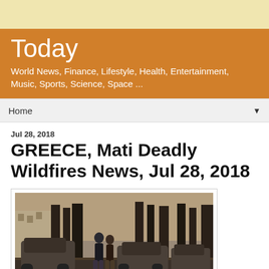Today — World News, Finance, Lifestyle, Health, Entertainment, Music, Sports, Science, Space ...
Home
Jul 28, 2018
GREECE, Mati Deadly Wildfires News, Jul 28, 2018
[Figure (photo): Photograph showing burned-out car wrecks on a road with charred trees in the background. Two people stand amid the destruction after the Mati wildfires in Greece.]